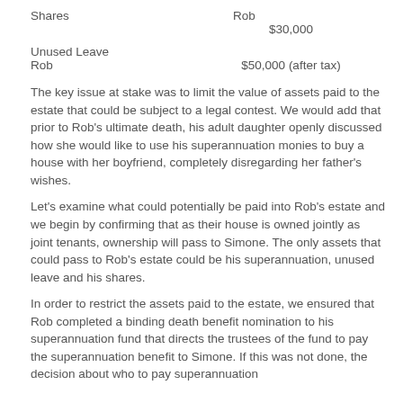Shares    Rob
$30,000
Unused Leave
Rob    $50,000 (after tax)
The key issue at stake was to limit the value of assets paid to the estate that could be subject to a legal contest.  We would add that prior to Rob's ultimate death, his adult daughter openly discussed how she would like to use his superannuation monies to buy a house with her boyfriend, completely disregarding her father's wishes.
Let's examine what could potentially be paid into Rob's estate and we begin by confirming that as their house is owned jointly as joint tenants, ownership will pass to Simone.  The only assets that could pass to Rob's estate could be his superannuation, unused leave and his shares.
In order to restrict the assets paid to the estate, we ensured that Rob completed a binding death benefit nomination to his superannuation fund that directs the trustees of the fund to pay the superannuation benefit to Simone.  If this was not done, the decision about who to pay superannuation